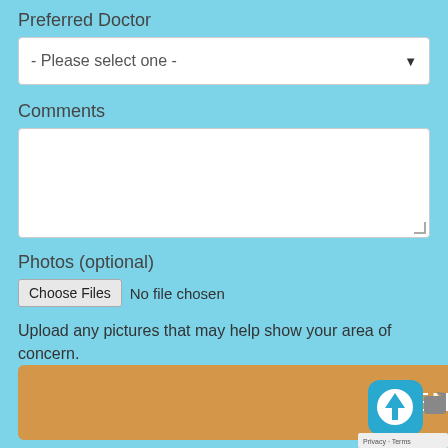Preferred Doctor
[Figure (screenshot): Dropdown select box showing '- Please select one -']
Comments
[Figure (screenshot): Empty textarea input box for comments]
Photos (optional)
[Figure (screenshot): File input with 'Choose Files' button and 'No file chosen' text]
Upload any pictures that may help show your area of concern.
ADD UP TO 10 IMAGES. ACCEPTED FILE TYPES: JPG, JPEG.
[Figure (screenshot): Orange SEND button at bottom of form]
[Figure (screenshot): App icon overlay with upload arrow, and Privacy - Terms bar]